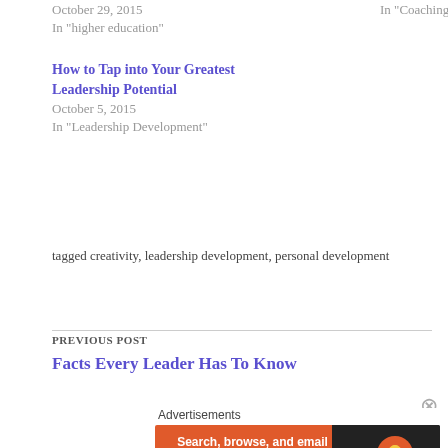October 29, 2015
In "higher education"
In "Coaching and Mentoring"
How to Tap into Your Greatest Leadership Potential
October 5, 2015
In "Leadership Development"
tagged creativity, leadership development, personal development
PREVIOUS POST
Facts Every Leader Has To Know
Advertisements
[Figure (screenshot): DuckDuckGo advertisement banner: orange and dark background with text 'Search, browse, and email with more privacy. All in One Free App' and DuckDuckGo logo]